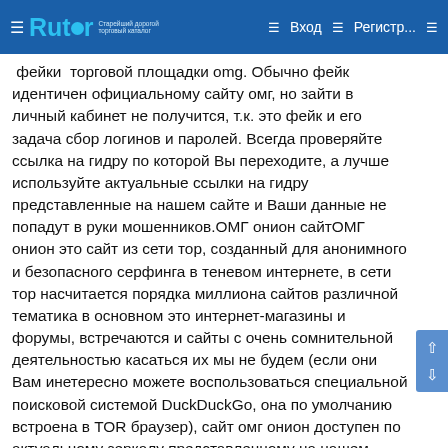Rutor — Вход — Регистр...
фейки  торговой площадки omg. Обычно фейк идентичен официальному сайту омг, но зайти в личный кабинет не получится, т.к. это фейк и его задача сбор логинов и паролей. Всегда проверяйте ссылка на гидру по которой Вы переходите, а лучше используйте актуальные ссылки на гидру представленные на нашем сайте и Ваши данные не попадут в руки мошенников.ОМГ онион сайтОМГ онион это сайт из сети тор, созданный для анонимного и безопасного серфинга в теневом интернете, в сети тор насчитается порядка миллиона сайтов различной тематика в основном это интернет-магазины и форумы, встречаются и сайты с очень сомнительной деятельностью касаться их мы не будем (если они Вам инетересно можете воспользоваться специальной поисковой системой DuckDuckGo, она по умолчанию встроена в TOR браузер), сайт омг онион доступен по актуальному зеркалу представленному на нашем сайте. Для того чтобы перейти на гидру в зоне онион Вам понадобится тор браузер т.к. домены в зоне onion специально созданы для анонимной сети TOR, нажмите на кнопки "скопировать" (она расположена выше), далее